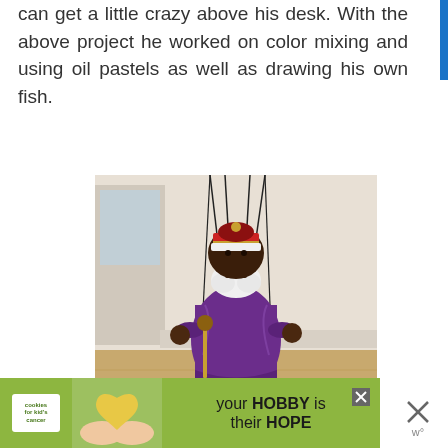can get a little crazy above his desk. With the above project he worked on color mixing and using oil pastels as well as drawing his own fish.
[Figure (photo): A marionette puppet dressed in purple robes with a red and gold crown, white feather beard, and dark skin, suspended by strings above a wooden floor. The puppet holds a scepter and appears to be a king character.]
[Figure (screenshot): Advertisement banner for Cookies for Kid's Cancer charity with green background showing 'your HOBBY is their HOPE' text alongside an image of hands holding a heart-shaped cookie.]